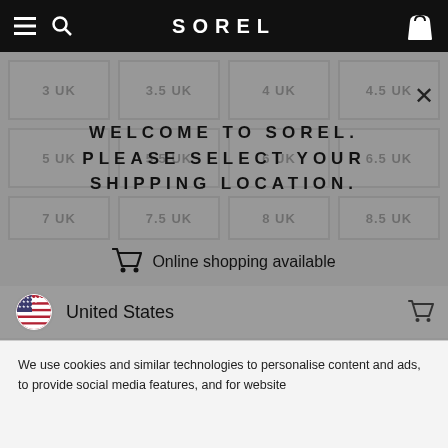SOREL
| Col1 | Col2 | Col3 | Col4 |
| --- | --- | --- | --- |
| 3 UK | 3.5 UK | 4 UK | 4.5 UK |
| 5 UK | 5.5 UK | 6 UK | 6.5 UK |
| 7 UK | 7.5 UK | 8 UK | 8.5 UK |
WELCOME TO SOREL. PLEASE SELECT YOUR SHIPPING LOCATION.
Online shopping available
United States
We use cookies and similar technologies to personalise content and ads, to provide social media features, and for website